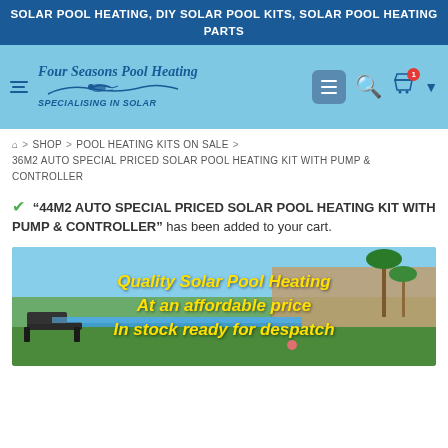SOLAR POOL HEATING, DIY SOLAR POOL KITS, SOLAR POOL HEATING PARTS
[Figure (logo): Four Seasons Pool Heating logo with swimmer silhouette and tagline SPECIALISING IN SOLAR on light blue navigation bar with menu, search, and cart icons]
Home > SHOP > POOL HEATING KITS ON SALE > 36M2 AUTO SPECIAL PRICED SOLAR POOL HEATING KIT WITH PUMP & CONTROLLER
"44M2 AUTO SPECIAL PRICED SOLAR POOL HEATING KIT WITH PUMP & CONTROLLER" has been added to your cart.
[Figure (photo): Promotional image of a backyard pool with text overlay: Quality Solar Pool Heating, At an affordable price, In stock ready for despatch]